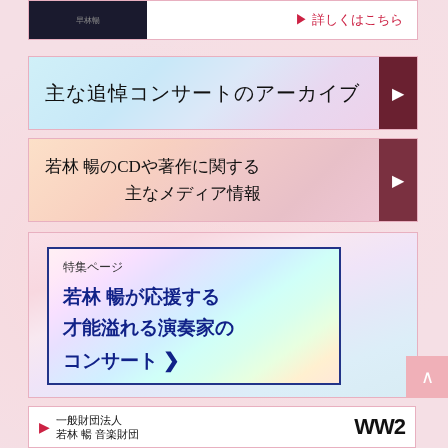[Figure (screenshot): Top banner with dark image thumbnail on left and red detail link on right saying 詳しくはこちら]
[Figure (screenshot): Banner: 主な追悼コンサートのアーカイブ with dark red arrow box on right]
[Figure (screenshot): Banner: 若林 暢のCDや著作に関する 主なメディア情報 with dark red arrow box on right]
[Figure (screenshot): Feature section with rainbow gradient background containing bordered box with text: 特集ページ 若林 暢が応援する 才能溢れる演奏家の コンサート with chevron]
[Figure (screenshot): Footer section with 一般財団法人 若林 暢 音楽財団 and logo WN2]
[Figure (screenshot): Back to top button (∧) on right side]